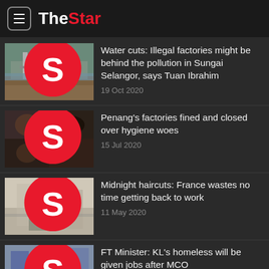The Star
Water cuts: Illegal factories might be behind the pollution in Sungai Selangor, says Tuan Ibrahim | 19 Oct 2020
Penang's factories fined and closed over hygiene woes | 15 Jul 2020
Midnight haircuts: France wastes no time getting back to work | 11 May 2020
FT Minister: KL's homeless will be given jobs after MCO | 11 Apr 2020